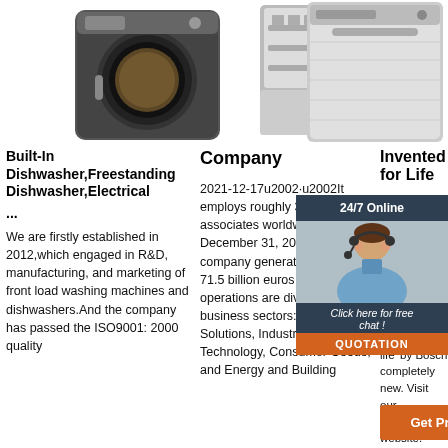[Figure (photo): Front-load washing machine, silver/dark, door open]
[Figure (photo): Dishwasher with door open showing interior racks]
[Figure (photo): Built-in dishwasher, stainless steel front]
Built-In Dishwasher,Freestanding Dishwasher,Electrical ...
We are firstly established in 2012,which engaged in R&D, manufacturing, and marketing of front load washing machines and dishwashers.And the company has passed the ISO9001: 2000 quality
Company
2021-12-17u2002·u2002It employs roughly 395,000 associates worldwide (as of December 31, 2020). The company generated sales of 71.5 billion euros in 2020. Its operations are divided into four business sectors: Mobility Solutions, Industrial Technology, Consumer Goods, and Energy and Building
Invented for Life
2021-12-17u2002·u2002 stories and inspiring Experiences meaning 'invented for life' by Bosch completely new. Visit our international website.
[Figure (photo): Customer service agent with headset, 24/7 Online chat box overlay with QUOTATION button]
24/7 Online
Click here for free chat !
QUOTATION
Get Price